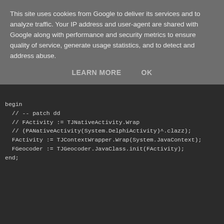This site uses cookies from Google to deliver its services and to analyze traffic. Your IP address and user-agent are shared with Google along with performance and security metrics to ensure quality of service, generate usage statistics, and to detect and address abuse.
LEARN MORE    OK
begin
  // -- patch dd
  // FActivity := TJNativeActivity.Wrap
  // (PANativeActivity(System.DelphiActivity)^.clazz);
  FActivity := TJContextWrapper.Wrap(System.JavaContext);
  FGeocoder := TJGeocoder.JavaClass.init(FActivity);
end;
Now you are able to using LocationSensor in this way:
uses

  System.SensorsDD, System.Android.SensorsDD

...